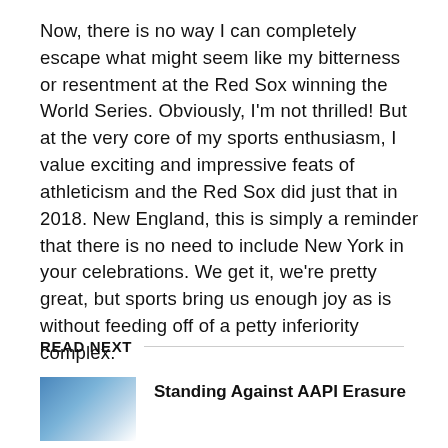Now, there is no way I can completely escape what might seem like my bitterness or resentment at the Red Sox winning the World Series. Obviously, I'm not thrilled! But at the very core of my sports enthusiasm, I value exciting and impressive feats of athleticism and the Red Sox did just that in 2018. New England, this is simply a reminder that there is no need to include New York in your celebrations. We get it, we're pretty great, but sports bring us enough joy as is without feeding off of a petty inferiority complex.
READ NEXT
[Figure (photo): Thumbnail image with blue tones, partially visible]
Standing Against AAPI Erasure